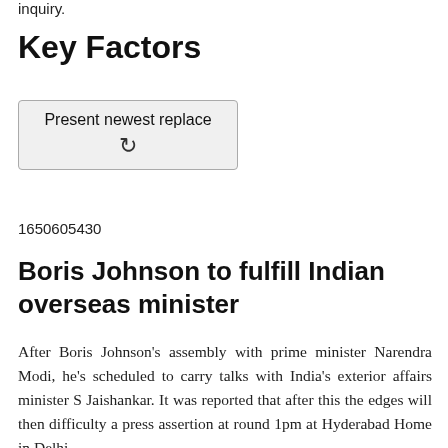inquiry.
Key Factors
[Figure (other): A button/widget showing 'Present newest replace' with a refresh/reload icon (circular arrow)]
1650605430
Boris Johnson to fulfill Indian overseas minister
After Boris Johnson's assembly with prime minister Narendra Modi, he's scheduled to carry talks with India's exterior affairs minister S Jaishankar. It was reported that after this the edges will then difficulty a press assertion at round 1pm at Hyderabad Home in Delhi.